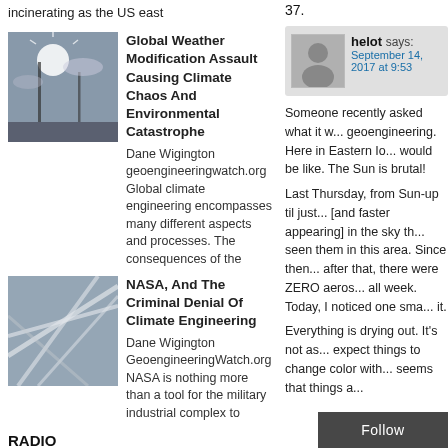incinerating as the US east
[Figure (photo): Sun shining through clouds and poles, backlit image]
Global Weather Modification Assault Causing Climate Chaos And Environmental Catastrophe
Dane Wigington geoengineeringwatch.org Global climate engineering encompasses many different aspects and processes. The consequences of the
[Figure (photo): Crosshatch chemtrail lines in sky]
NASA, And The Criminal Denial Of Climate Engineering
Dane Wigington GeoengineeringWatch.org NASA is nothing more than a tool for the military industrial complex to
RADIO
[Figure (photo): Colorful satellite weather map image]
Geoengineering Watch Global Alert News, August 13, 2022, #366
37.
helot says: September 14, 2017 at 9:53
Someone recently asked what it w... geoengineering. Here in Eastern Io... would be like. The Sun is brutal!
Last Thursday, from Sun-up til just... [and faster appearing] in the sky th... seen them in this area. Since then... after that, there were ZERO aeros... all week. Today, I noticed one sma... it.
Everything is drying out. It's not as... expect things to change color with... seems that things a...